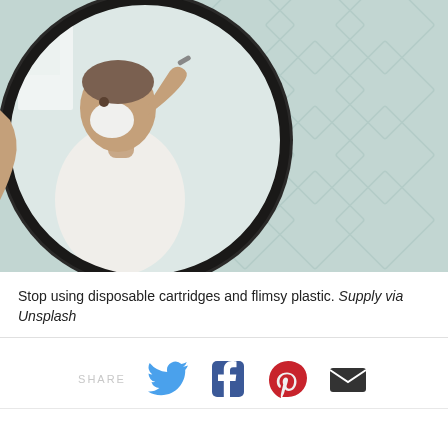[Figure (photo): A man in a white t-shirt shaving his face with shaving cream, seen reflected in a round circular mirror with a dark frame. The background shows light mint/teal colored geometric tile wall pattern.]
Stop using disposable cartridges and flimsy plastic. Supply via Unsplash
[Figure (other): Social share bar with SHARE label and icons for Twitter (bird, blue), Facebook (f, dark blue/navy), Pinterest (P, red), and email/envelope (dark gray/black).]